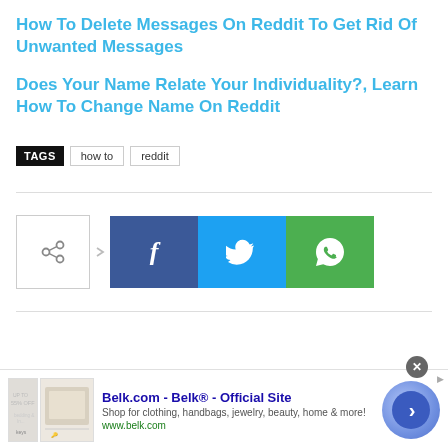How To Delete Messages On Reddit To Get Rid Of Unwanted Messages
Does Your Name Relate Your Individuality?, Learn How To Change Name On Reddit
TAGS  how to  reddit
[Figure (infographic): Social share buttons: share icon with outline border, Facebook (blue), Twitter (cyan), WhatsApp (green)]
[Figure (infographic): Advertisement banner for Belk.com - Belk® - Official Site. Shop for clothing, handbags, jewelry, beauty, home & more! www.belk.com. Shows product thumbnails, close button, and circular navigation arrow.]